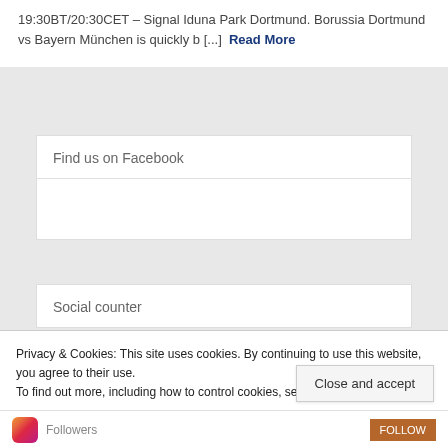19:30BT/20:30CET – Signal Iduna Park Dortmund. Borussia Dortmund vs Bayern München is quickly b [...] Read More
Find us on Facebook
Social counter
Privacy & Cookies: This site uses cookies. By continuing to use this website, you agree to their use.
To find out more, including how to control cookies, see here: Cookie Policy
Close and accept
Followers